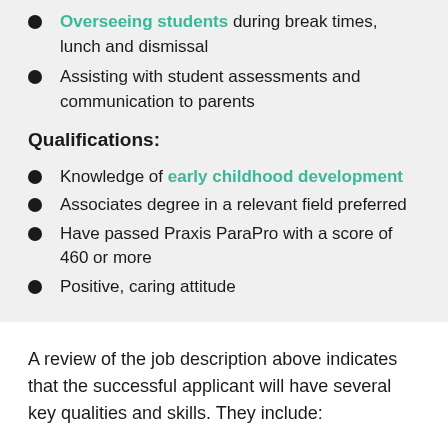Overseeing students during break times, lunch and dismissal
Assisting with student assessments and communication to parents
Qualifications:
Knowledge of early childhood development
Associates degree in a relevant field preferred
Have passed Praxis ParaPro with a score of 460 or more
Positive, caring attitude
A review of the job description above indicates that the successful applicant will have several key qualities and skills. They include: